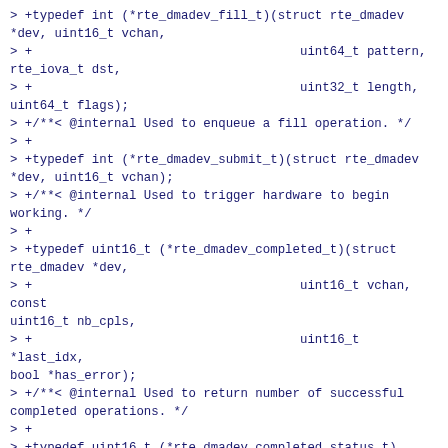> +typedef int (*rte_dmadev_fill_t)(struct rte_dmadev *dev, uint16_t vchan,
> +                                    uint64_t pattern, rte_iova_t dst,
> +                                    uint32_t length, uint64_t flags);
> +/**< @internal Used to enqueue a fill operation. */
> +
> +typedef int (*rte_dmadev_submit_t)(struct rte_dmadev *dev, uint16_t vchan);
> +/**< @internal Used to trigger hardware to begin working. */
> +
> +typedef uint16_t (*rte_dmadev_completed_t)(struct rte_dmadev *dev,
> +                                    uint16_t vchan, const uint16_t nb_cpls,
> +                                    uint16_t *last_idx, bool *has_error);
> +/**< @internal Used to return number of successful completed operations. */
> +
> +typedef uint16_t (*rte_dmadev_completed_status_t)(struct rte_dmadev *dev,
> +                          uint16_t vchan, const uint16_t nb_cpls,
> +                          uint16_t *last_idx, enum rte_dma_status_code *status);
> +/**< @internal Used to return number of completed operations. */